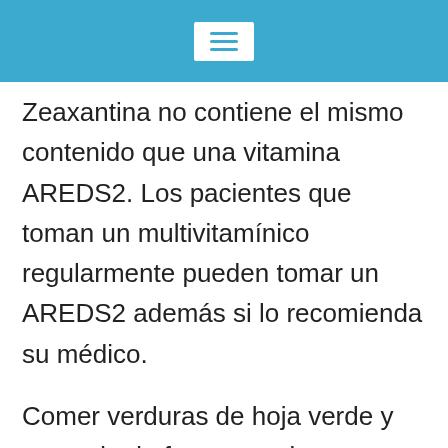[Figure (other): Mobile app header bar with hamburger menu icon on blue background]
Zeaxantina no contiene el mismo contenido que una vitamina AREDS2. Los pacientes que toman un multivitamínico regularmente pueden tomar un AREDS2 además si lo recomienda su médico.
Comer verduras de hoja verde y pescado de forma regular disminuye el riesgo de experimentar un empeoramiento de la degeneración macular. Una dieta rica en vitaminas omega-3 puede disminuir aún más el